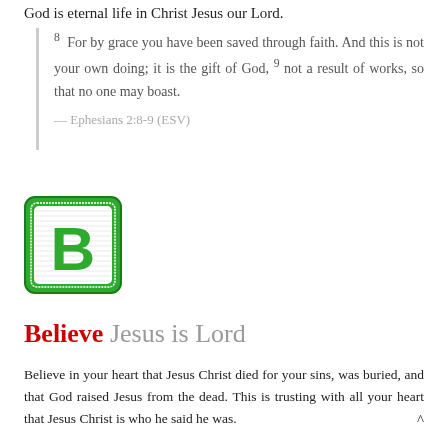God is eternal life in Christ Jesus our Lord.
8 For by grace you have been saved through faith. And this is not your own doing; it is the gift of God, 9 not a result of works, so that no one may boast.
— Ephesians 2:8-9 (ESV)
[Figure (illustration): Green toy letter block with the letter B in green on a white face, with a green border]
Believe Jesus is Lord
Believe in your heart that Jesus Christ died for your sins, was buried, and that God raised Jesus from the dead. This is trusting with all your heart that Jesus Christ is who he said he was.